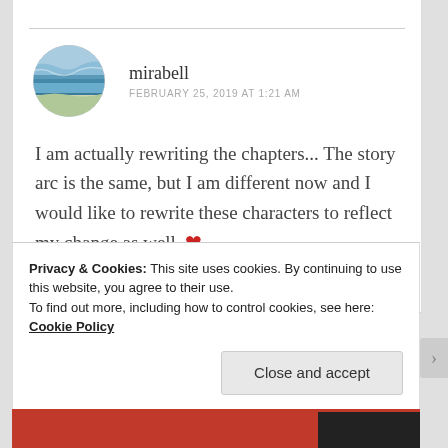mirabell
FEBRUARY 25, 2019 AT 1:21 AM
I am actually rewriting the chapters... The story arc is the same, but I am different now and I would like to rewrite these characters to reflect my change as well. ❤
★ Liked by 5 people
Privacy & Cookies: This site uses cookies. By continuing to use this website, you agree to their use. To find out more, including how to control cookies, see here: Cookie Policy
Close and accept